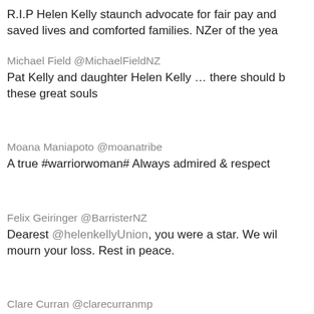R.I.P Helen Kelly staunch advocate for fair pay and saved lives and comforted families. NZer of the yea
Michael Field @MichaelFieldNZ
Pat Kelly and daughter Helen Kelly … there should b these great souls
Moana Maniapoto @moanatribe
A true #warriorwoman# Always admired & respect
Felix Geiringer @BarristerNZ
Dearest @helenkellyUnion, you were a star. We wil mourn your loss. Rest in peace.
Clare Curran @clarecurranmp